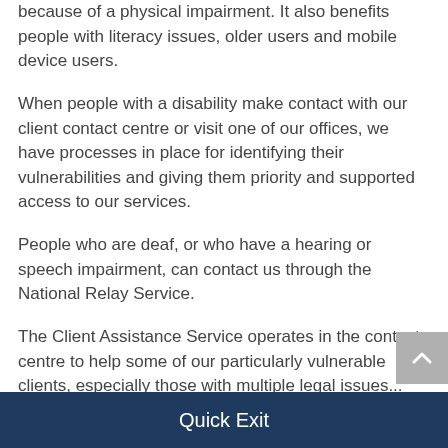because of a physical impairment. It also benefits people with literacy issues, older users and mobile device users.
When people with a disability make contact with our client contact centre or visit one of our offices, we have processes in place for identifying their vulnerabilities and giving them priority and supported access to our services.
People who are deaf, or who have a hearing or speech impairment, can contact us through the National Relay Service.
The Client Assistance Service operates in the contact centre to help some of our particularly vulnerable clients, especially those with multiple legal issues...
Quick Exit